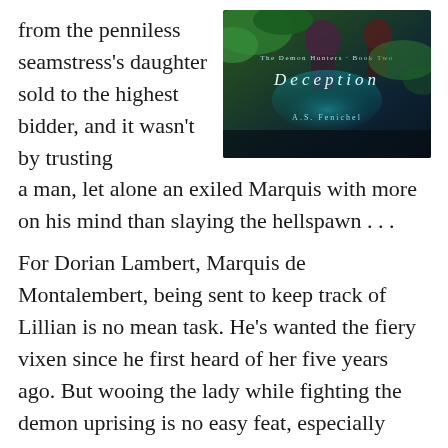from the penniless seamstress's daughter sold to the highest bidder, and it wasn't by trusting a man, let alone an exiled Marquis with more on his mind than slaying the hellspawn . . .
[Figure (illustration): Book cover for 'The Demon Hunters - Book Two: Deception' by A.S. Fenichel. Dark fantasy cover with figures and teal/purple tones.]
For Dorian Lambert, Marquis de Montalembert, being sent to keep track of Lillian is no mean task. He's wanted the fiery vixen since he first heard of her five years ago. But wooing the lady while fighting the demon uprising is no easy feat, especially when the lady's tongue is as sharp as the Japanese sai blades she favors for eviscerating the spawn of hell.
These two will have to learn to trust each other fast